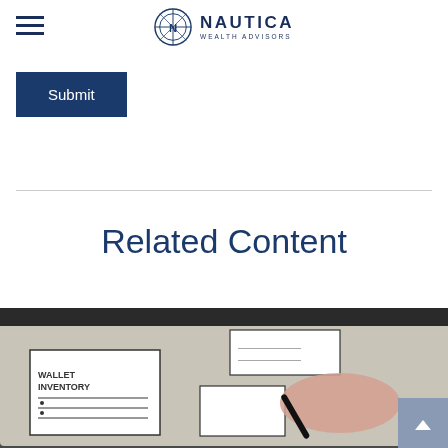NAUTICA WEALTH ADVISORS
Submit
Related Content
[Figure (photo): Photo of a hand drawing wireframe sketches on a tablet/whiteboard, showing boxes labeled 'WALLET INVENTORY' and other UI elements with a stylus/pen.]